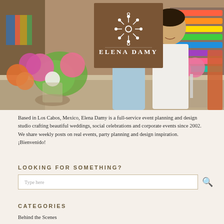[Figure (photo): A couple (man and woman) in an event/floral design studio setting. A wooden-background logo box for 'ELENA DAMY' is overlaid in the upper center of the image. Colorful floral arrangements are visible on a counter in the foreground.]
Based in Los Cabos, Mexico, Elena Damy is a full-service event planning and design studio crafting beautiful weddings, social celebrations and corporate events since 2002. We share weekly posts on real events, party planning and design inspiration. ¡Bienvenido!
LOOKING FOR SOMETHING?
Type here
CATEGORIES
Behind the Scenes